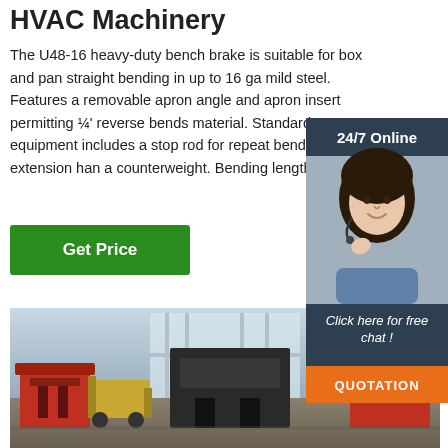HVAC Machinery
The U48-16 heavy-duty bench brake is suitable for box and pan straight bending in up to 16 ga mild steel. Features a removable apron angle and apron insert permitting ¼' reverse bends material. Standard equipment includes a stop rod for repeat bends, extension han a counterweight. Bending length: 48.25'.
[Figure (infographic): 24/7 Online customer service representative sidebar with woman wearing headset, 'Click here for free chat!' text, and orange QUOTATION button]
Get Price
[Figure (photo): Industrial workshop photo showing heavy-duty bench brake machinery on a factory floor]